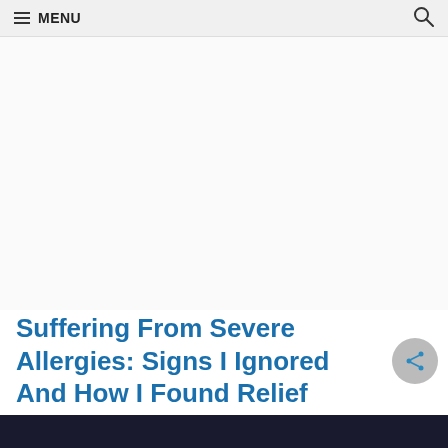≡ MENU
[Figure (other): Advertisement area, blank white space]
Suffering From Severe Allergies: Signs I Ignored And How I Found Relief
[Figure (photo): Dark photo at bottom of page, partially visible, appears to show a person]